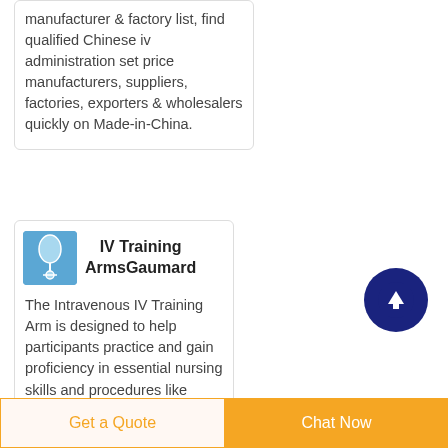manufacturer & factory list, find qualified Chinese iv administration set price manufacturers, suppliers, factories, exporters & wholesalers quickly on Made-in-China.
[Figure (photo): Thumbnail image of IV training arm product]
IV Training ArmsGaumard
The Intravenous IV Training Arm is designed to help participants practice and gain proficiency in essential nursing skills and procedures like venipuncture, IV
Get a Quote
Chat Now